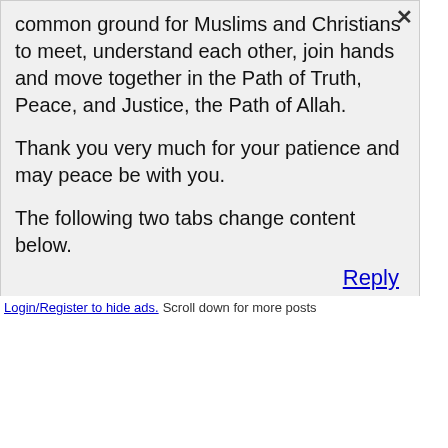common ground for Muslims and Christians to meet, understand each other, join hands and move together in the Path of Truth, Peace, and Justice, the Path of Allah.
Thank you very much for your patience and may peace be with you.
The following two tabs change content below.
Reply
Login/Register to hide ads. Scroll down for more posts